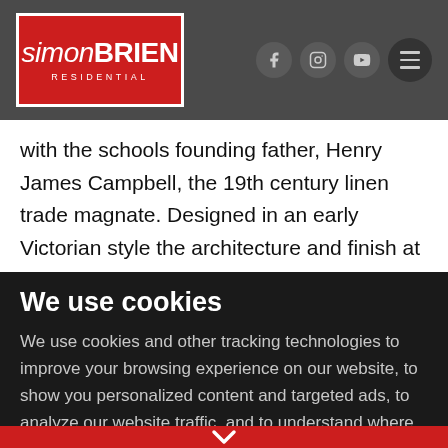simon BRIEN RESIDENTIAL — navigation bar with social icons
with the schools founding father, Henry James Campbell, the 19th century linen trade magnate. Designed in an early Victorian style the architecture and finish at Lacefield pay homage to gothic revivalist styling, reminiscent of the era, reflected in the antique red brick, granite features and the capital stone follower. Derived also high
We use cookies
We use cookies and other tracking technologies to improve your browsing experience on our website, to show you personalized content and targeted ads, to analyze our website traffic, and to understand where our visitors are coming